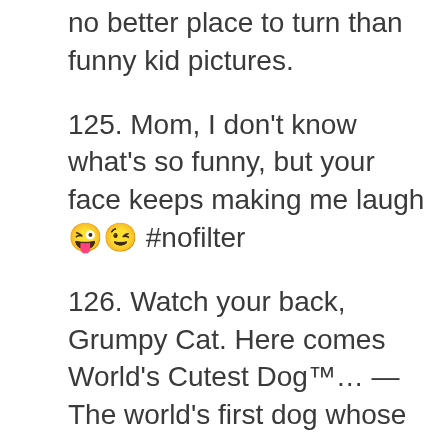no better place to turn than funny kid pictures.
125. Mom, I don't know what's so funny, but your face keeps making me laugh 😜😊 #nofilter
126. Watch your back, Grumpy Cat. Here comes World's Cutest Dog™… — The world's first dog whose
127. Looks rival that of a human baby new study finds
128. What's better than a little pet therapy every now and then? With